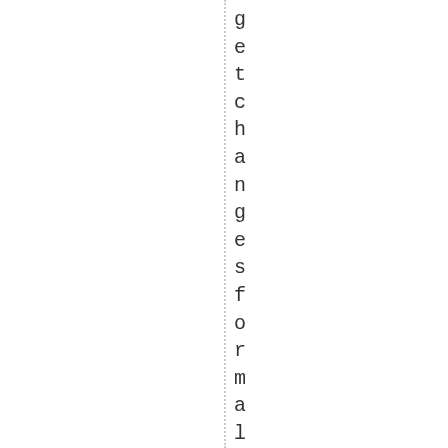getchangesformallymadebyanyo ft